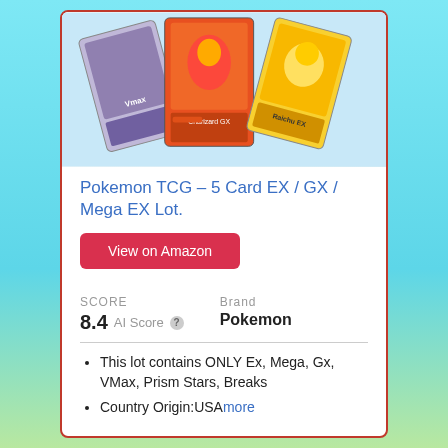[Figure (photo): Pokemon trading cards fanned out showing EX, GX, and Mega EX cards with colorful artwork]
Pokemon TCG – 5 Card EX / GX / Mega EX Lot.
View on Amazon
SCORE
8.4 AI Score
Brand
Pokemon
This lot contains ONLY Ex, Mega, Gx, VMax, Prism Stars, Breaks
Country Origin:USAmore